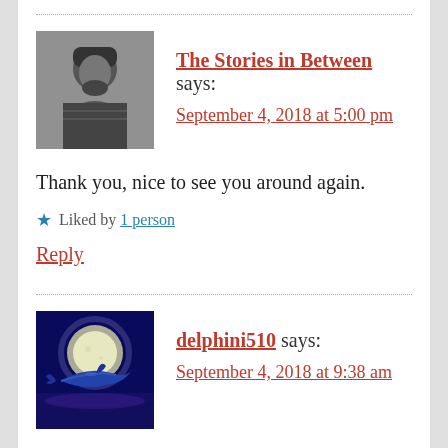[Figure (photo): Black and white photo of a man with long hair and beard]
The Stories in Between says:
September 4, 2018 at 5:00 pm
Thank you, nice to see you around again.
Liked by 1 person
Reply
[Figure (photo): A dolphin jumping in front of a full moon against a blue background]
delphini510 says:
September 4, 2018 at 9:38 am
A very beautiful poem, you feel deeply and say it in a